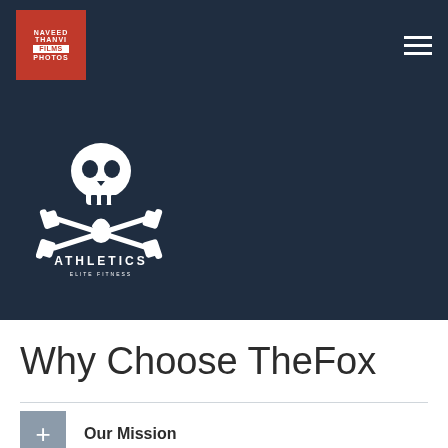NAVEED THANVI FILMS PHOTOS [logo] | hamburger menu
[Figure (logo): Athletics Elite Fitness logo: white skull above crossed dumbbells and kettlebell, with text ATHLETICS ELITE FITNESS, on dark navy background]
Why Choose TheFox
Our Mission
(second accordion item, partially visible)